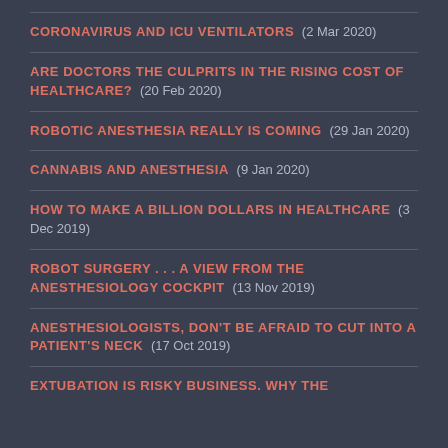CORONAVIRUS AND ICU VENTILATORS  (2 Mar 2020)
ARE DOCTORS THE CULPRITS IN THE RISING COST OF HEALTHCARE?  (20 Feb 2020)
ROBOTIC ANESTHESIA REALLY IS COMING  (29 Jan 2020)
CANNABIS AND ANESTHESIA  (9 Jan 2020)
HOW TO MAKE A BILLION DOLLARS IN HEALTHCARE  (3 Dec 2019)
ROBOT SURGERY . . . A VIEW FROM THE ANESTHESIOLOGY COCKPIT  (13 Nov 2019)
ANESTHESIOLOGISTS, DON'T BE AFRAID TO CUT INTO A PATIENT'S NECK  (17 Oct 2019)
EXTUBATION IS RISKY BUSINESS. WHY THE